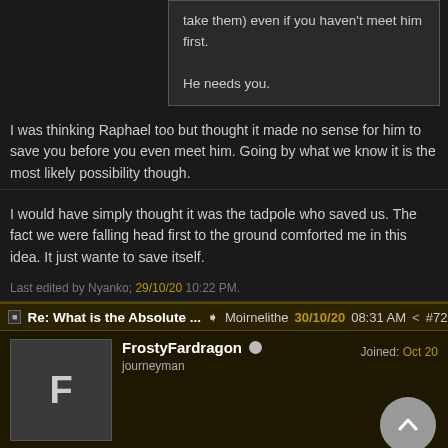take them) even if you haven't meet him first.

He needs you.
I was thinking Raphael too but thought it made no sense for him to save you before you even meet him. Going by what we know it is the most likely possibility though.
I would have simply thought it was the tadpole who saved us. The fact we were falling head first to the ground comforted me in this idea. It just wanted to save itself.
Last edited by Nyanko; 29/10/20 10:22 PM.
Re: What is the Absolute ... → Moirnelithe 30/10/20 08:31 AM ↗ #7226
FrostyFardragon
journeyman
Joined: Oct 20
Originally Posted by Moirnelithe
Originally Posted by rodeolifant